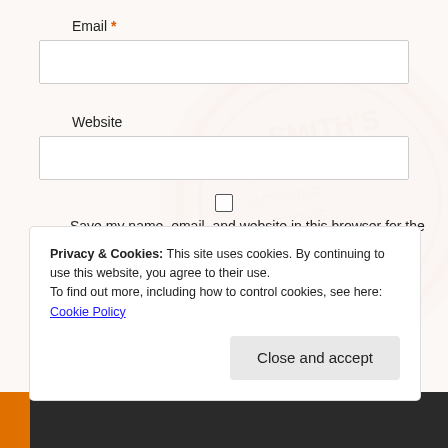Email *
Website
Save my name, email, and website in this browser for the next time I comment.
Notify me of new posts by email.
Post Comment
Privacy & Cookies: This site uses cookies. By continuing to use this website, you agree to their use. To find out more, including how to control cookies, see here: Cookie Policy